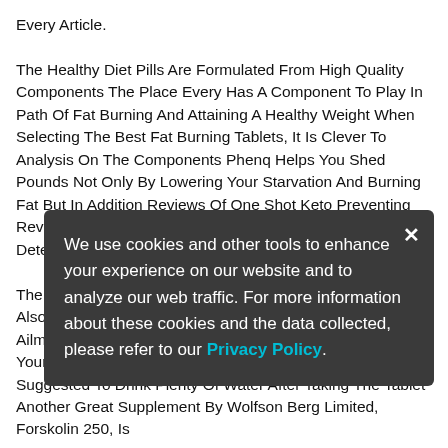Every Article. The Healthy Diet Pills Are Formulated From High Quality Components The Place Every Has A Component To Play In Path Of Fat Burning And Attaining A Healthy Weight When Selecting The Best Fat Burning Tablets, It Is Clever To Analysis On The Components Phenq Helps You Shed Pounds Not Only By Lowering Your Starvation And Burning Fat But In Addition Reviews Of One Shot Keto Preventing Reviews Of One Shot Keto Your Physique From Deteriorating. The Active Ingredient Discovered In This Complement Is Also Said To Reduce Cholesterol And Cardiovascular Ailments Take One With Breakfast And One Along Before Your Lunch Or Whatever Fits You Better It Is Also Suggested To Drink Plenty Of Water After Taking The Tablet Another Great Supplement By Wolfson Berg Limited, Forskolin 250, Is
We use cookies and other tools to enhance your experience on our website and to analyze our web traffic. For more information about these cookies and the data collected, please refer to our Privacy Policy.